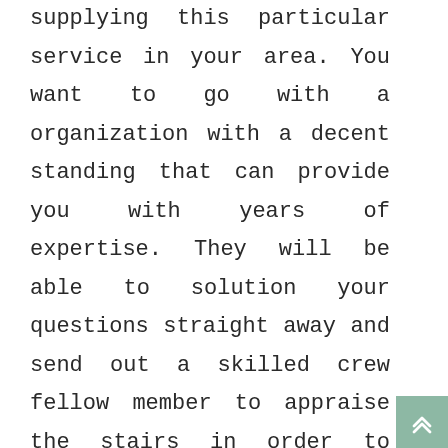supplying this particular service in your area. You want to go with a organization with a decent standing that can provide you with years of expertise. They will be able to solution your questions straight away and send out a skilled crew fellow member to appraise the stairs in order to personalized make the Home Lift depending on your staircase and particular demands. The next action you happen to be going to need to identify prior to